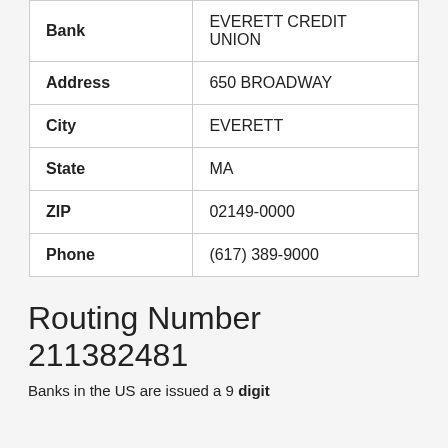| Field | Value |
| --- | --- |
| Bank | EVERETT CREDIT UNION |
| Address | 650 BROADWAY |
| City | EVERETT |
| State | MA |
| ZIP | 02149-0000 |
| Phone | (617) 389-9000 |
Routing Number 211382481
Banks in the US are issued a 9 digit